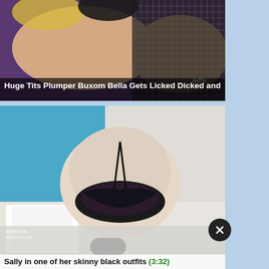[Figure (photo): Thumbnail image of an adult content video showing two women, one with fishnet stockings, on a purple surface]
Huge Tits Plumper Buxom Bella Gets Licked Dicked and
[Figure (photo): Thumbnail image of an adult content video showing a woman on a bed in black lace underwear, viewed from behind]
Sally in one of her skinny black outfits (3:32)